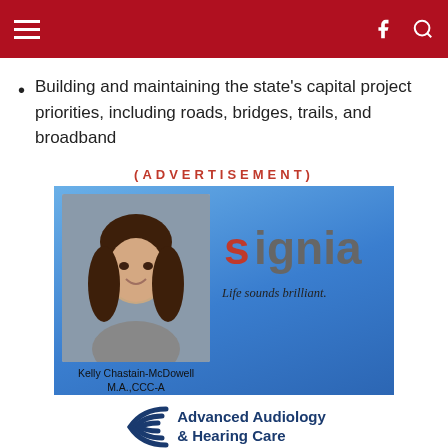Building and maintaining the state's capital project priorities, including roads, bridges, trails, and broadband
(ADVERTISEMENT)
[Figure (illustration): Advertisement for Advanced Audiology & Hearing Care featuring Kelly Chastain-McDowell M.A.,CCC-A, Signia hearing aids logo with tagline 'Life sounds brilliant.', business address 3525 Mitchell Rd, Bedford, IN 47421, phone 812-275-4479, website www.advancehearingcare.org]